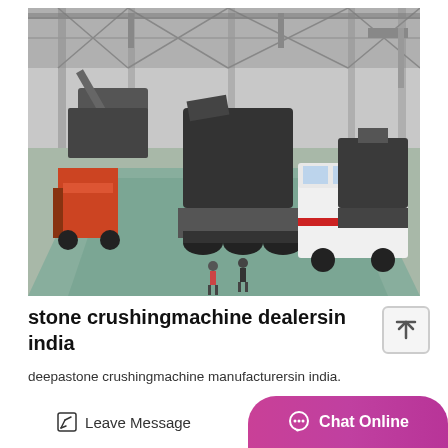[Figure (photo): Industrial factory floor with heavy stone crushing machinery, forklifts, trucks, and workers inside a large warehouse facility. Black and white / desaturated photo with teal floor markings.]
stone crushingmachine dealersin india
deepastone crushingmachine manufacturersin india.
Leave Message  Chat Online